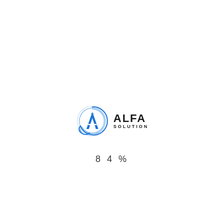[Figure (logo): Alfa Solution logo: circular blue swirl icon with a stylized A letter inside, next to bold text reading ALFA on top and SOLUTION below]
84%